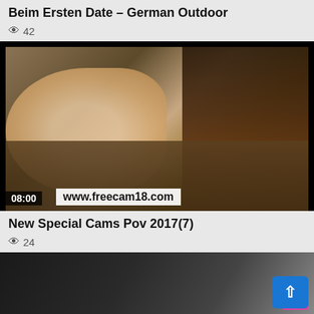Beim Ersten Date – German Outdoor
👁 42
[Figure (screenshot): Video thumbnail showing an adult content video still with timestamp 08:00 and watermark www.freecam18.com]
New Special Cams Pov 2017(7)
👁 24
[Figure (screenshot): Partial video thumbnail showing adult content, partially obscured by a back-to-top button]